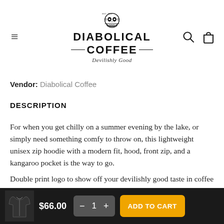[Figure (logo): Diabolical Coffee logo with skull illustration and tagline 'Devilishly Good']
Vendor: Diabolical Coffee
DESCRIPTION
For when you get chilly on a summer evening by the lake, or simply need something comfy to throw on, this lightweight unisex zip hoodie with a modern fit, hood, front zip, and a kangaroo pocket is the way to go.
Double print logo to show off your devilishly good taste in coffee and swag!
$66.00  1  ADD TO CART